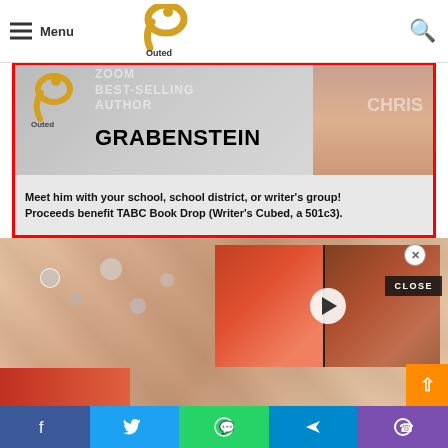Menu
[Figure (screenshot): Website header with hamburger menu icon, 'Menu' label, Outed logo, and search icon]
[Figure (photo): Advertisement banner with red border showing 'ZOOM BEST-SELLING AUTHOR CHRIS GRABENSTEIN' text and author photo]
Meet him with your school, school district, or writer's group! Proceeds benefit TABC Book Drop (Writer's Cubed, a 501c3).
[Figure (photo): Close-up photo of decorated acrylic nails with gems and floral designs]
[Figure (screenshot): Video popup showing food images (pizza and chicken) with play button overlay]
Facebook Twitter WhatsApp Telegram Phone share buttons